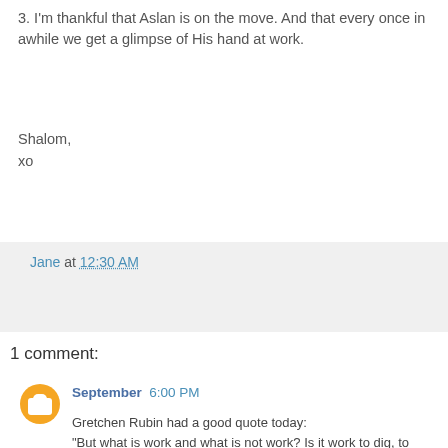3. I'm thankful that Aslan is on the move. And that every once in awhile we get a glimpse of His hand at work.
Shalom,
xo
Jane at 12:30 AM
Share
1 comment:
September  6:00 PM
Gretchen Rubin had a good quote today:
"But what is work and what is not work? Is it work to dig, to carpenter, to plant trees, to fell trees, to ride, to fish, to hunt, to feed chickens, to play the piano, to take photographs, to build a house, to cook, to sew, to trim hats, to mend motor